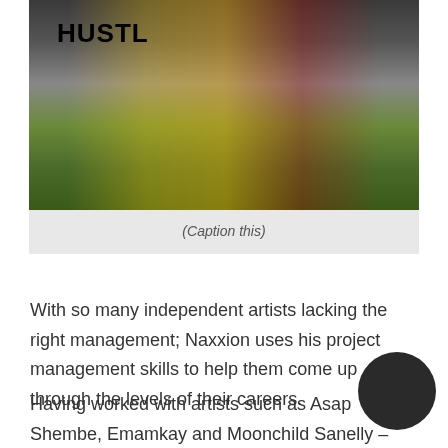[Figure (photo): Panel discussion event photo showing people seated on stage at a Hustle event, with yellow and red backdrop visible]
(Caption this)
With so many independent artists lacking the right management; Naxxion uses his project management skills to help them come up through the levels of their careers.
Having worked with artists such as Asap Shembe, Emamkay and Moonchild Sanelly – Naxion says he looks for authenticity in the people he partners Most of the job is in finding the right team and learning to trust them. Because you can't do